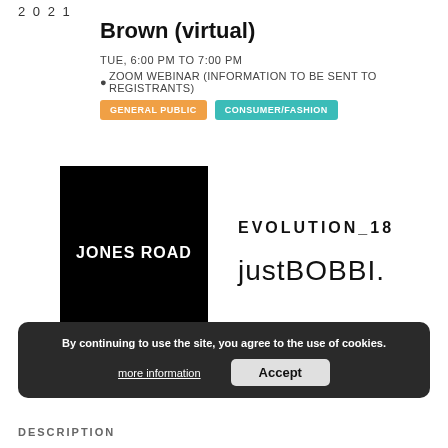2 0 2 1
Brown (virtual)
TUE, 6:00 PM TO 7:00 PM
ZOOM WEBINAR (INFORMATION TO BE SENT TO REGISTRANTS)
GENERAL PUBLIC
CONSUMER/FASHION
[Figure (logo): Jones Road logo - white text on black square background]
[Figure (logo): EVOLUTION_18 logo text]
[Figure (logo): justBOBBI. logo text]
By continuing to use the site, you agree to the use of cookies.
more information
Accept
DESCRIPTION